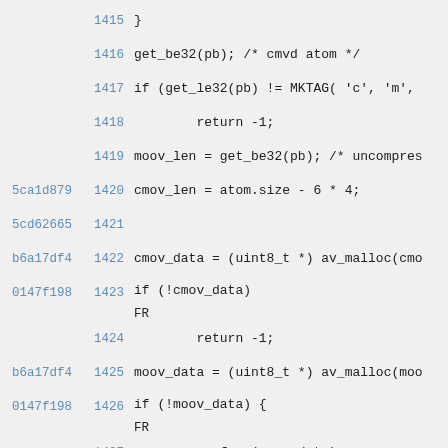[Figure (screenshot): Source code diff/annotated listing showing lines 1415-1430 of a C file with hash annotations and line numbers. Code includes get_be32, get_le32, MKTAG, moov_len, cmov_len, cmov_data, av_malloc, moov_data, av_free, get_buffer calls.]